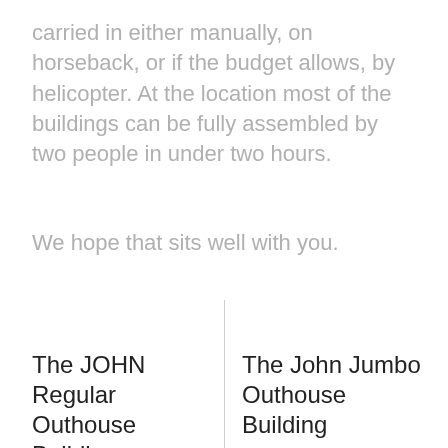carried in either manually, on horseback, or if the budget allows, by helicopter. At the location most of the buildings can be fully assembled by two people in under two hours.
We hope that sits well with you.
The JOHN Regular Outhouse Building
PTR-6 (Regular)
The John Jumbo Outhouse Building
PTR-6J (Jumbo)